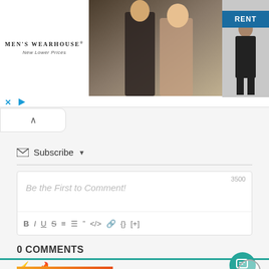[Figure (photo): Men's Wearhouse advertisement banner showing a couple in formal wear and a man in a suit, with a blue RENT button]
Subscribe ▼
3500
Be the First to Comment!
B I U S ≡ ≡ " <> {} [+]
0 COMMENTS